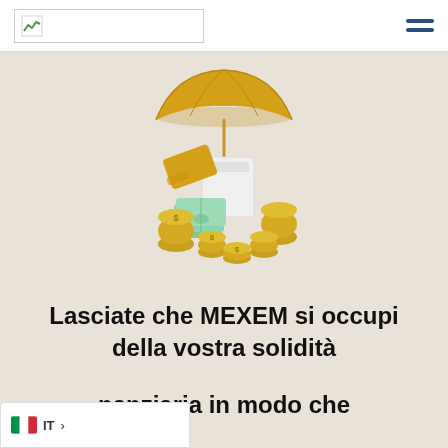MEXEM logo and navigation header
[Figure (illustration): 3D illustration of financial items: a golden umbrella, gold coins, green banknotes/cash bundles, credit/debit cards, all arranged together on a beige background suggesting financial security and wealth management.]
Lasciate che MEXEM si occupi della vostra solidità finanziaria in modo che